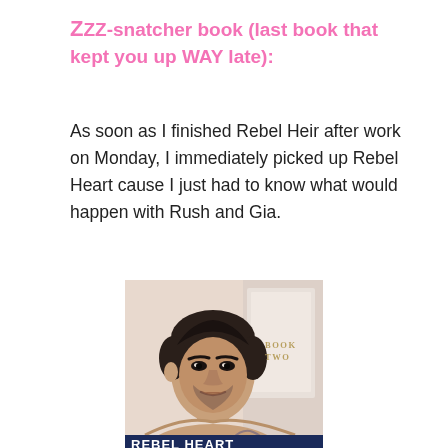ZZZ-snatcher book (last book that kept you up WAY late):
As soon as I finished Rebel Heir after work on Monday, I immediately picked up Rebel Heart cause I just had to know what would happen with Rush and Gia.
[Figure (photo): Book cover of 'Rebel Heart' Book Two, showing a shirtless muscular man with dark hair and stubble, and 'BOOK TWO' text visible in the upper right corner, with partial title text at the bottom.]